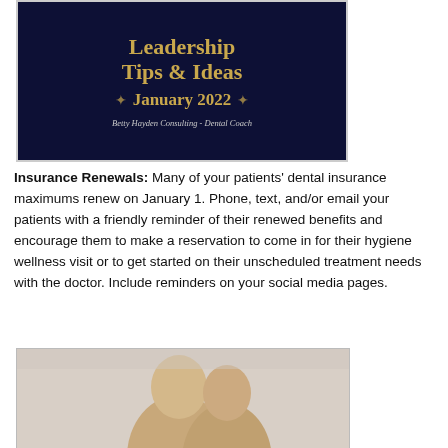[Figure (illustration): Dark navy blue banner with gold text reading 'Leadership Tips & Ideas' and 'January 2022' with decorative star/asterisk ornaments. Subtitle: 'Betty Hayden Consulting - Dental Coach' in italic white text.]
Insurance Renewals: Many of your patients' dental insurance maximums renew on January 1. Phone, text, and/or email your patients with a friendly reminder of their renewed benefits and encourage them to make a reservation to come in for their hygiene wellness visit or to get started on their unscheduled treatment needs with the doctor. Include reminders on your social media pages.
[Figure (photo): Photo of two people (appears to be a couple or parent and child) leaning together affectionately, shot against a neutral light background.]